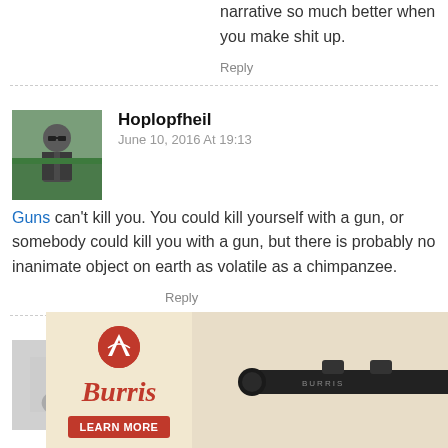narrative so much better when you make shit up.
Reply
Hoplopfheil
June 10, 2016 At 19:13
Guns can't kill you. You could kill yourself with a gun, or somebody could kill you with a gun, but there is probably no inanimate object on earth as volatile as a chimpanzee.
Reply
anonymoose
June 10, 2016 At 19:34
...t the ...orits used on ...and ...s off"
[Figure (advertisement): Burris Droptine Riflescope advertisement. Shows a rifle scope image, Burris logo in red italic script, red circular mountain logo, LEARN MORE button, and text: DROPTINE RIFLESCOPE BEST SCOPE UNDER $150]